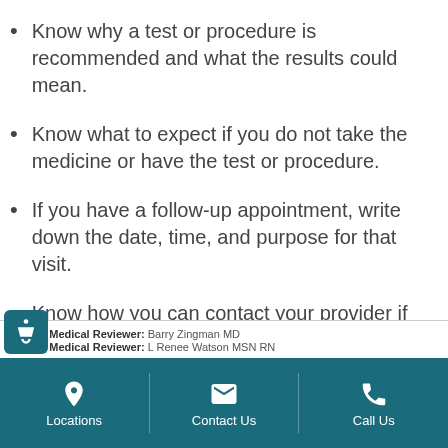Know why a test or procedure is recommended and what the results could mean.
Know what to expect if you do not take the medicine or have the test or procedure.
If you have a follow-up appointment, write down the date, time, and purpose for that visit.
Know how you can contact your provider if you have questions.
Online Medical Reviewer: Barry Zingman MD
Online Medical Reviewer: L Renee Watson MSN RN
Locations | Contact Us | Call Us